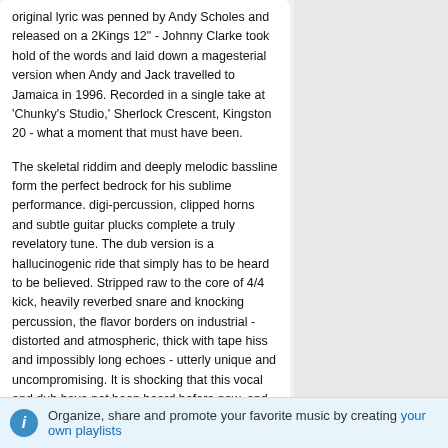original lyric was penned by Andy Scholes and released on a 2Kings 12" - Johnny Clarke took hold of the words and laid down a magesterial version when Andy and Jack travelled to Jamaica in 1996. Recorded in a single take at 'Chunky's Studio,' Sherlock Crescent, Kingston 20 - what a moment that must have been.
The skeletal riddim and deeply melodic bassline form the perfect bedrock for his sublime performance. digi-percussion, clipped horns and subtle guitar plucks complete a truly revelatory tune. The dub version is a hallucinogenic ride that simply has to be heard to be believed. Stripped raw to the core of 4/4 kick, heavily reverbed snare and knocking percussion, the flavor borders on industrial - distorted and atmospheric, thick with tape hiss and impossibly long echoes - utterly unique and uncompromising. It is shocking that this vocal and dub have not been heard before now, and we are proud to be the label to present them to the world.
Customers playlists
DUB created by maf le fou
Organize, share and promote your favorite music by creating your own playlists